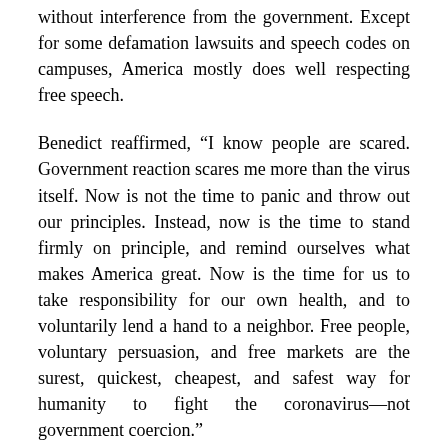without interference from the government. Except for some defamation lawsuits and speech codes on campuses, America mostly does well respecting free speech.
Benedict reaffirmed, “I know people are scared. Government reaction scares me more than the virus itself. Now is not the time to panic and throw out our principles. Instead, now is the time to stand firmly on principle, and remind ourselves what makes America great. Now is the time for us to take responsibility for our own health, and to voluntarily lend a hand to a neighbor. Free people, voluntary persuasion, and free markets are the surest, quickest, cheapest, and safest way for humanity to fight the coronavirus—not government coercion.”
Wes Benedict is Founder of the Libertarian Booster PAC (libertarianboosterpac.org) and former Executive